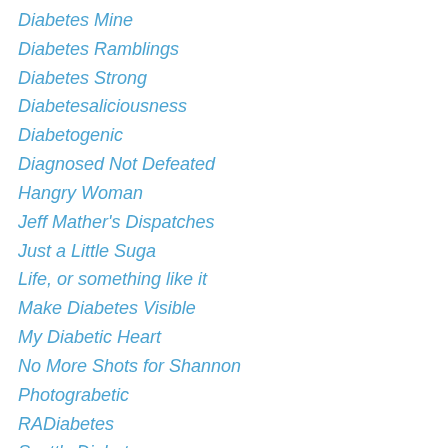Diabetes Mine
Diabetes Ramblings
Diabetes Strong
Diabetesaliciousness
Diabetogenic
Diagnosed Not Defeated
Hangry Woman
Jeff Mather's Dispatches
Just a Little Suga
Life, or something like it
Make Diabetes Visible
My Diabetic Heart
No More Shots for Shannon
Photograbetic
RADiabetes
Scott's Diabetes
Scott's Web Log
See Jen Dance
Seeking Six
Six Unitl Me.